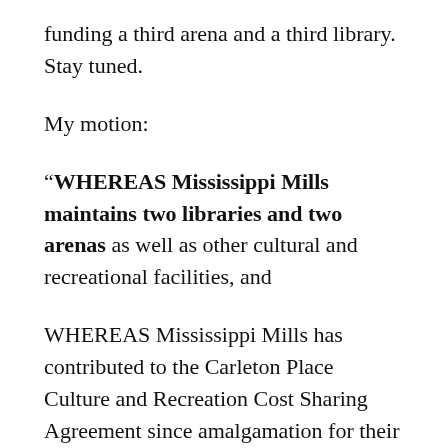funding a third arena and a third library. Stay tuned.
My motion:
“WHEREAS Mississippi Mills maintains two libraries and two arenas as well as other cultural and recreational facilities, and
WHEREAS Mississippi Mills has contributed to the Carleton Place Culture and Recreation Cost Sharing Agreement since amalgamation for their library, pool and arena, with increases of 8%, 8.2%, 9.4% and 12% in the last four years, for an increase of approximately $50,000 from 2016 and totalling more than $1M in the last 8